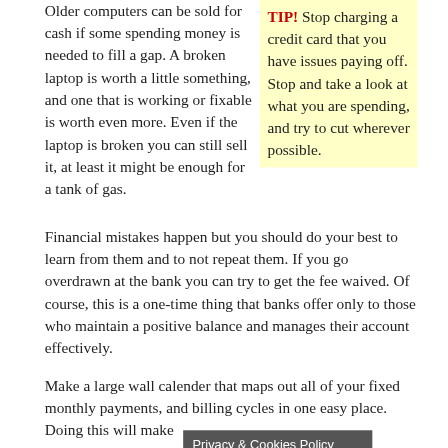Older computers can be sold for cash if some spending money is needed to fill a gap. A broken laptop is worth a little something, and one that is working or fixable is worth even more. Even if the laptop is broken you can still sell it, at least it might be enough for a tank of gas.
TIP! Stop charging a credit card that you have issues paying off. Stop and take a look at what you are spending, and try to cut wherever possible.
Financial mistakes happen but you should do your best to learn from them and to not repeat them. If you go overdrawn at the bank you can try to get the fee waived. Of course, this is a one-time thing that banks offer only to those who maintain a positive balance and manages their account effectively.
Make a large wall calender that maps out all of your fixed monthly payments, and billing cycles in one easy place. Doing this will make
Privacy & Cookies Policy